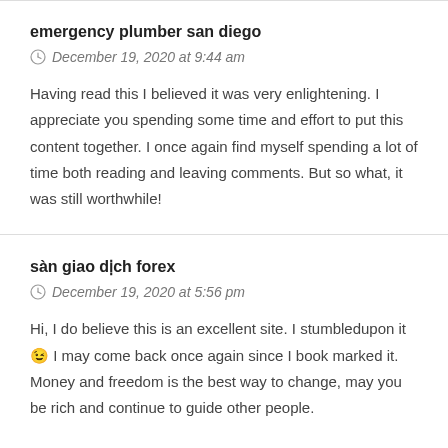emergency plumber san diego
December 19, 2020 at 9:44 am
Having read this I believed it was very enlightening. I appreciate you spending some time and effort to put this content together. I once again find myself spending a lot of time both reading and leaving comments. But so what, it was still worthwhile!
sàn giao dịch forex
December 19, 2020 at 5:56 pm
Hi, I do believe this is an excellent site. I stumbledupon it 😉 I may come back once again since I book marked it. Money and freedom is the best way to change, may you be rich and continue to guide other people.